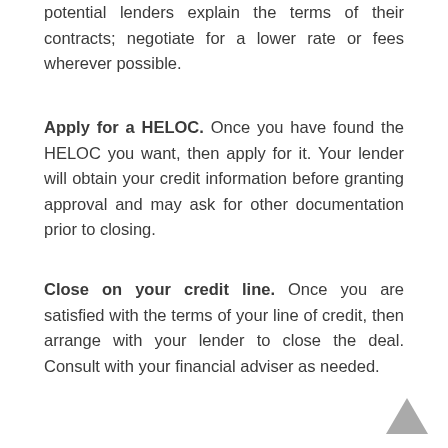potential lenders explain the terms of their contracts; negotiate for a lower rate or fees wherever possible.
Apply for a HELOC. Once you have found the HELOC you want, then apply for it. Your lender will obtain your credit information before granting approval and may ask for other documentation prior to closing.
Close on your credit line. Once you are satisfied with the terms of your line of credit, then arrange with your lender to close the deal. Consult with your financial adviser as needed.